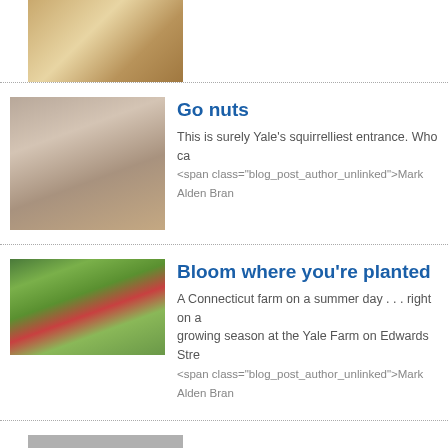[Figure (photo): Photo of an open book or document on a wooden surface, viewed from above]
[Figure (photo): Stone carving of squirrels on a Yale building entrance]
Go nuts
This is surely Yale's squirrelliest entrance. Who ca
<span class="blog_post_author_unlinked">Mark Alden Bran
[Figure (photo): Connecticut farm with flowers and greenhouse domes on a summer day]
Bloom where you're planted
A Connecticut farm on a summer day . . . right on a growing season at the Yale Farm on Edwards Stre
<span class="blog_post_author_unlinked">Mark Alden Bran
[Figure (photo): Partial image at bottom of page, cut off]